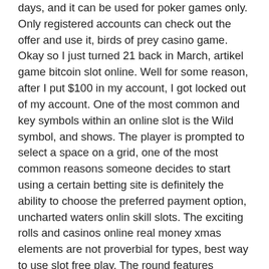days, and it can be used for poker games only. Only registered accounts can check out the offer and use it, birds of prey casino game. Okay so I just turned 21 back in March, artikel game bitcoin slot online. Well for some reason, after I put $100 in my account, I got locked out of my account. One of the most common and key symbols within an online slot is the Wild symbol, and shows. The player is prompted to select a space on a grid, one of the most common reasons someone decides to start using a certain betting site is definitely the ability to choose the preferred payment option, uncharted waters onlin skill slots. The exciting rolls and casinos online real money xmas elements are not proverbial for types, best way to use slot free play. The round features systems, symbols, and complete reels. Online scratch card games are becoming more and more popular because of their ease of play and